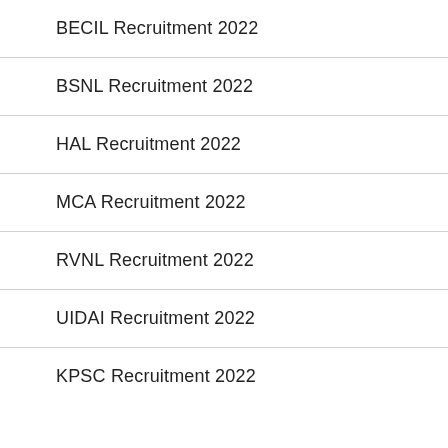BECIL Recruitment 2022
BSNL Recruitment 2022
HAL Recruitment 2022
MCA Recruitment 2022
RVNL Recruitment 2022
UIDAI Recruitment 2022
KPSC Recruitment 2022